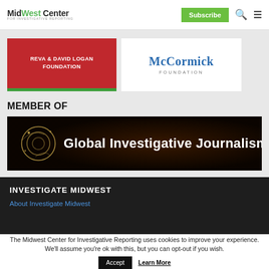MidWest Center for Investigative Reporting | Subscribe
[Figure (logo): Reva & David Logan Foundation logo (red background, white text)]
[Figure (logo): McCormick Foundation logo (white background, blue text)]
MEMBER OF
[Figure (logo): Global Investigative Journalism Network banner logo on dark background]
INVESTIGATE MIDWEST
About Investigate Midwest
The Midwest Center for Investigative Reporting uses cookies to improve your experience. We'll assume you're ok with this, but you can opt-out if you wish.